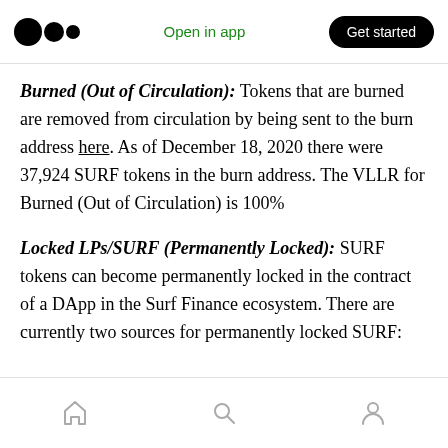Open in app | Get started
Burned (Out of Circulation): Tokens that are burned are removed from circulation by being sent to the burn address here. As of December 18, 2020 there were 37,924 SURF tokens in the burn address. The VLLR for Burned (Out of Circulation) is 100%
Locked LPs/SURF (Permanently Locked): SURF tokens can become permanently locked in the contract of a DApp in the Surf Finance ecosystem. There are currently two sources for permanently locked SURF:
Home | Search | Profile